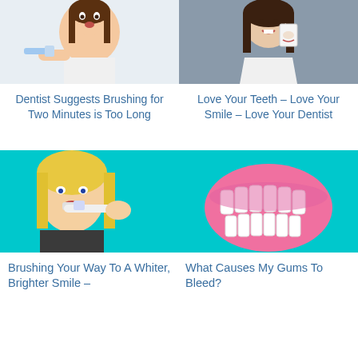[Figure (photo): Young girl with surprised expression holding a toothbrush, white background]
[Figure (photo): Woman in white blazer smiling and holding up a dental photo, gray background]
Dentist Suggests Brushing for Two Minutes is Too Long
Love Your Teeth – Love Your Smile – Love Your Dentist
[Figure (photo): Blonde woman brushing teeth with electric toothbrush, cyan background]
[Figure (photo): Pink dental model showing full set of white teeth, cyan background]
Brushing Your Way To A Whiter, Brighter Smile –
What Causes My Gums To Bleed?